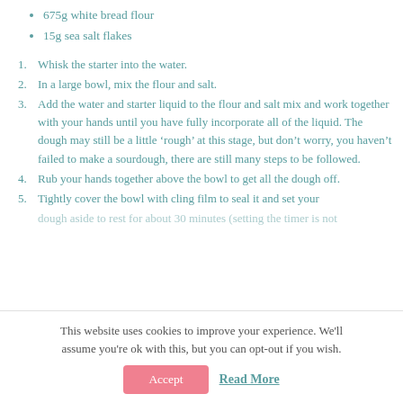675g white bread flour
15g sea salt flakes
1. Whisk the starter into the water.
2. In a large bowl, mix the flour and salt.
3. Add the water and starter liquid to the flour and salt mix and work together with your hands until you have fully incorporate all of the liquid. The dough may still be a little ‘rough’ at this stage, but don’t worry, you haven’t failed to make a sourdough, there are still many steps to be followed.
4. Rub your hands together above the bowl to get all the dough off.
5. Tightly cover the bowl with cling film to seal it and set your dough aside to rest for about 30 minutes (setting the timer is not
This website uses cookies to improve your experience. We'll assume you're ok with this, but you can opt-out if you wish.
Accept   Read More